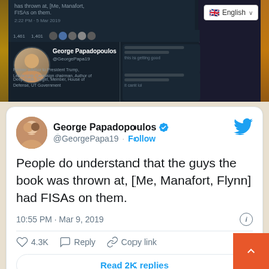[Figure (screenshot): Screenshot of a dark-themed Twitter interface showing George Papadopoulos's Twitter profile, with a language selector showing 'English' in the top right corner]
[Figure (screenshot): Embedded tweet card from George Papadopoulos (@GeorgePapa19) reading: 'People do understand that the guys the book was thrown at, [Me, Manafort, Flynn] had FISAs on them.' posted at 10:55 PM · Mar 9, 2019, with 4.3K likes, Reply and Copy link actions, and a 'Read 2K replies' button]